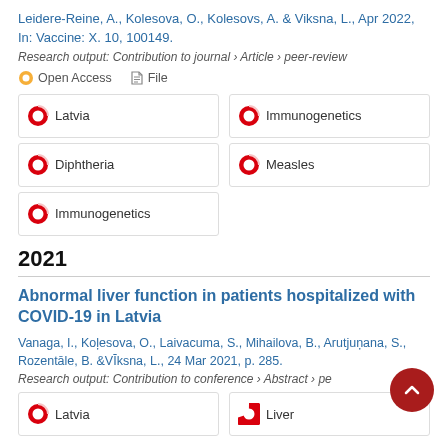Leidere-Reine, A., Kolesova, O., Kolesovs, A. & Viksna, L., Apr 2022, In: Vaccine: X. 10, 100149.
Research output: Contribution to journal › Article › peer-review
Open Access  File
Latvia
Immunogenetics
Diphtheria
Measles
Immunogenetics
2021
Abnormal liver function in patients hospitalized with COVID-19 in Latvia
Vanaga, I., Kolesova, O., Laivacuma, S., Mihailova, B., Arutjunana, S., Rozentāle, B. & Vīksna, L., 24 Mar 2021, p. 285.
Research output: Contribution to conference › Abstract › peer-review
Latvia
Liver